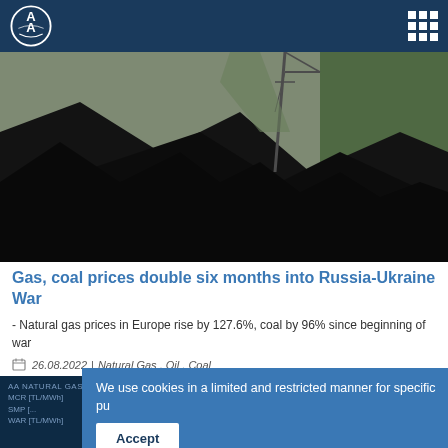AA (Anadolu Agency) logo and navigation
[Figure (photo): Large pile of black coal with a crane/industrial structure visible in background, green trees visible on right side]
Gas, coal prices double six months into Russia-Ukraine War
- Natural gas prices in Europe rise by 127.6%, coal by 96% since beginning of war
26.08.2022 | Natural Gas , Oil , Coal
We use cookies in a limited and restricted manner for specific pu
Accept